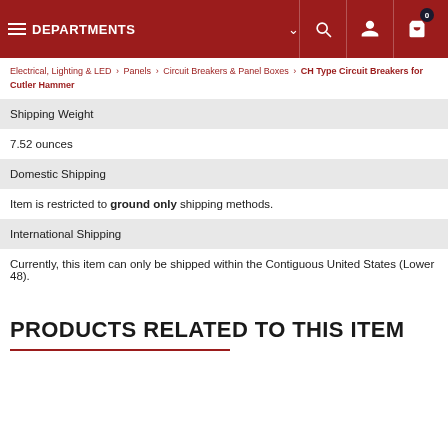DEPARTMENTS
Electrical, Lighting & LED > Panels > Circuit Breakers & Panel Boxes > CH Type Circuit Breakers for Cutler Hammer
| Shipping Weight |  |
| 7.52 ounces |  |
| Domestic Shipping |  |
| Item is restricted to ground only shipping methods. |  |
| International Shipping |  |
| Currently, this item can only be shipped within the Contiguous United States (Lower 48). |  |
PRODUCTS RELATED TO THIS ITEM